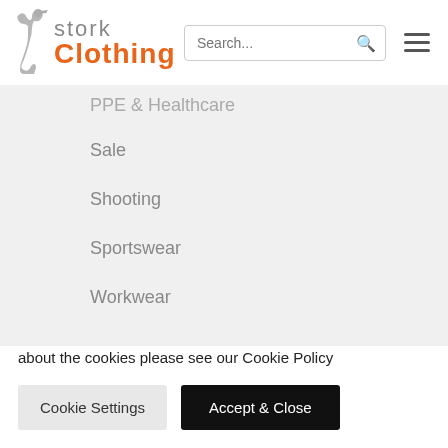[Figure (logo): Stork Clothing logo with stork bird SVG in grey and 'Clothing' in orange bold text]
PPE & Healthcare
Sale
Shooting
Sportswear
Workwear
We use cookies on our website for essential functionality to enable the shopping system to function. For more information about the cookies please see our Cookie Policy
Cookie Settings | Accept & Close